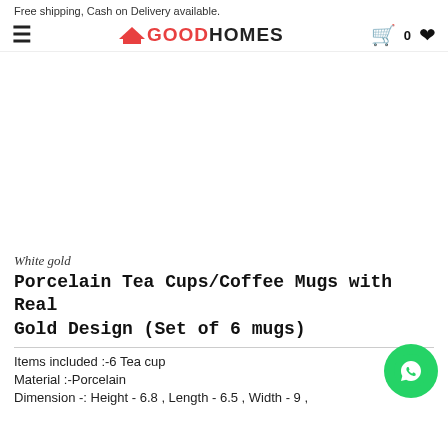Free shipping, Cash on Delivery available.
[Figure (logo): GoodHomes logo with red house icon and navigation bar with hamburger menu, cart with 0 items, and heart icon]
White gold
Porcelain Tea Cups/Coffee Mugs with Real Gold Design (Set of 6 mugs)
Items included :-6 Tea cup
Material :-Porcelain
Dimension -: Height - 6.8 , Length - 6.5 , Width - 9 ,